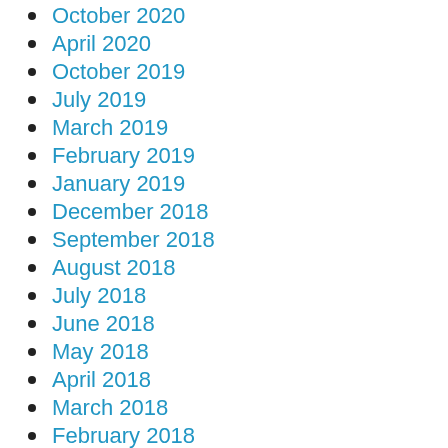October 2020
April 2020
October 2019
July 2019
March 2019
February 2019
January 2019
December 2018
September 2018
August 2018
July 2018
June 2018
May 2018
April 2018
March 2018
February 2018
January 2018